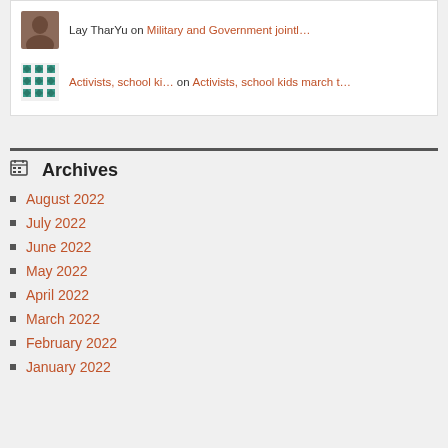Lay TharYu on Military and Government jointl…
Activists, school ki… on Activists, school kids march t…
Archives
August 2022
July 2022
June 2022
May 2022
April 2022
March 2022
February 2022
January 2022